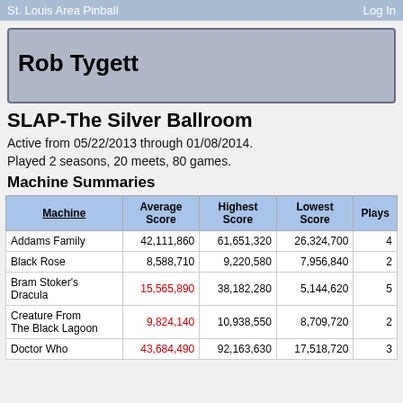St. Louis Area Pinball   Log In
Rob Tygett
SLAP-The Silver Ballroom
Active from 05/22/2013 through 01/08/2014.
Played 2 seasons, 20 meets, 80 games.
Machine Summaries
| Machine | Average Score | Highest Score | Lowest Score | Plays |
| --- | --- | --- | --- | --- |
| Addams Family | 42,111,860 | 61,651,320 | 26,324,700 | 4 |
| Black Rose | 8,588,710 | 9,220,580 | 7,956,840 | 2 |
| Bram Stoker's Dracula | 15,565,890 | 38,182,280 | 5,144,620 | 5 |
| Creature From The Black Lagoon | 9,824,140 | 10,938,550 | 8,709,720 | 2 |
| Doctor Who | 43,684,490 | 92,163,630 | 17,518,720 | 3 |